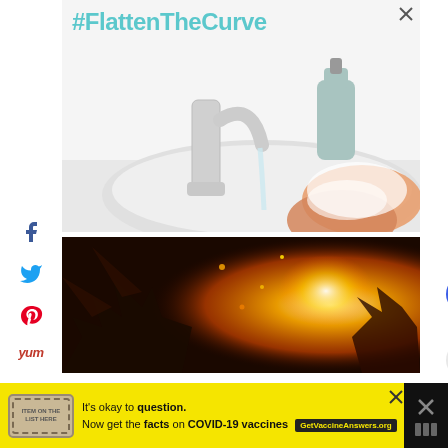[Figure (infographic): Advertisement banner showing hands being washed at a sink with a faucet and soap dispenser, with the hashtag #FlattenTheCurve in teal text at the top. A close button (X) is in the top right corner.]
[Figure (photo): A dramatic image showing what appears to be a dragon or creature silhouette against a bright orange/yellow fiery background with glowing light.]
[Figure (infographic): Bottom advertisement banner with yellow background. Stamp-like logo on left. Text reads: It's okay to question. Now get the facts on COVID-19 vaccines GetVaccineAnswers.org. Close button on right.]